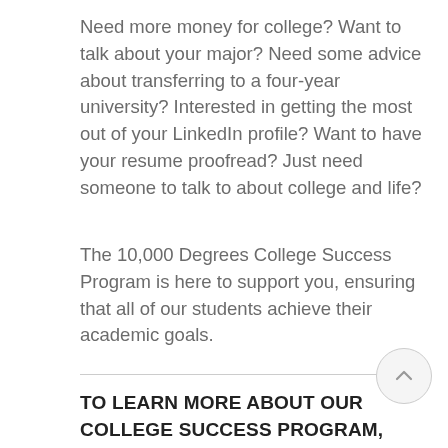Need more money for college? Want to talk about your major? Need some advice about transferring to a four-year university? Interested in getting the most out of your LinkedIn profile? Want to have your resume proofread? Just need someone to talk to about college and life?
The 10,000 Degrees College Success Program is here to support you, ensuring that all of our students achieve their academic goals.
TO LEARN MORE ABOUT OUR COLLEGE SUCCESS PROGRAM, CONTACT: